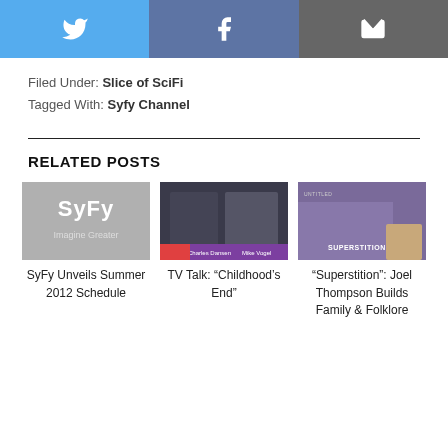[Figure (infographic): Social share buttons: Twitter (blue), Facebook (purple-blue), Email (gray)]
Filed Under: Slice of SciFi
Tagged With: Syfy Channel
RELATED POSTS
[Figure (photo): SyFy logo with text 'Imagine Greater' on gray background]
SyFy Unveils Summer 2012 Schedule
[Figure (photo): Two men (Charles Dansen and Mike Vogel) in interview setting with purple banner]
TV Talk: "Childhood's End"
[Figure (photo): Superstition show poster with group of people and small inset headshot]
"Superstition": Joel Thompson Builds Family & Folklore